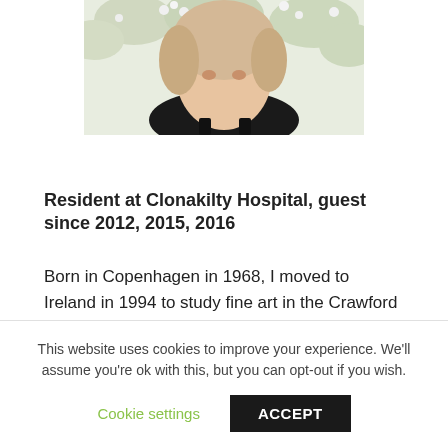[Figure (photo): Portrait photo of a woman with blonde hair pulled back, wearing a black top, with white flowers/foliage in the background]
Resident at Clonakilty Hospital, guest since 2012, 2015, 2016
Born in Copenhagen in 1968, I moved to Ireland in 1994 to study fine art in the Crawford College of Art and Design, Cork. Working primarily in sculpture I began,
This website uses cookies to improve your experience. We'll assume you're ok with this, but you can opt-out if you wish.
Cookie settings
ACCEPT